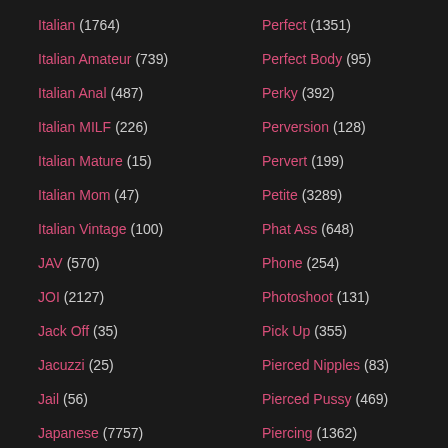Italian (1764)
Italian Amateur (739)
Italian Anal (487)
Italian MILF (226)
Italian Mature (15)
Italian Mom (47)
Italian Vintage (100)
JAV (570)
JOI (2127)
Jack Off (35)
Jacuzzi (25)
Jail (56)
Japanese (7757)
Japanese Anal (538)
Japanese Big Tits (718)
Perfect (1351)
Perfect Body (95)
Perky (392)
Perversion (128)
Pervert (199)
Petite (3289)
Phat Ass (648)
Phone (254)
Photoshoot (131)
Pick Up (355)
Pierced Nipples (83)
Pierced Pussy (469)
Piercing (1362)
Pigtail (243)
Piss Bukkake (19)
Piss Drinking (100)